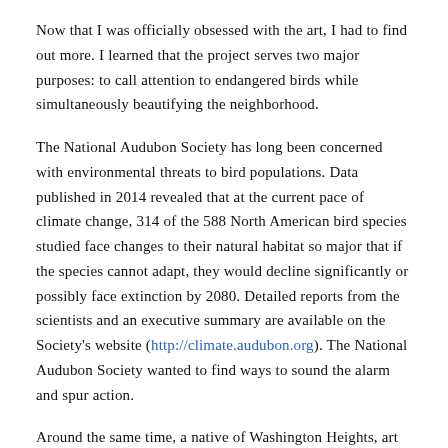Now that I was officially obsessed with the art, I had to find out more. I learned that the project serves two major purposes: to call attention to endangered birds while simultaneously beautifying the neighborhood.
The National Audubon Society has long been concerned with environmental threats to bird populations. Data published in 2014 revealed that at the current pace of climate change, 314 of the 588 North American bird species studied face changes to their natural habitat so major that if the species cannot adapt, they would decline significantly or possibly face extinction by 2080. Detailed reports from the scientists and an executive summary are available on the Society's website (http://climate.audubon.org). The National Audubon Society wanted to find ways to sound the alarm and spur action.
Around the same time, a native of Washington Heights, art collector and gallery owner Avi Gitler, was determined to bring art to Upper Manhattan.